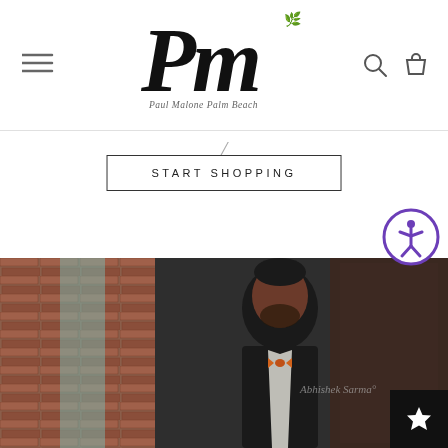[Figure (logo): PM logo in italic script with leaf decoration and subtitle 'Paul Malone Palm Beach']
[Figure (other): Hamburger menu icon (three horizontal lines)]
[Figure (other): Search icon (magnifying glass) and cart icon (shopping bag) in header]
START SHOPPING
[Figure (other): Accessibility icon - circular purple badge with person symbol]
[Figure (photo): Photo of a man in a dark suit with an orange bow tie, posing against a brick wall with a dark door in the background. A watermark/signature reads 'Abhishek Sarma']
[Figure (other): Black square button with white star icon (wishlist/favorites)]